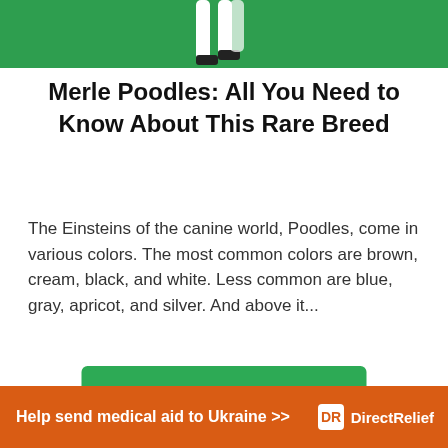[Figure (photo): Partial view of a dog (likely a Poodle) on a green background, showing legs/lower body]
Merle Poodles: All You Need to Know About This Rare Breed
The Einsteins of the canine world, Poodles, come in various colors. The most common colors are brown, cream, black, and white. Less common are blue, gray, apricot, and silver. And above it...
CONTINUE READING
ABOUT US
[Figure (photo): Partial photo of a dark-colored dog, partially visible at bottom]
Help send medical aid to Ukraine >> DirectRelief